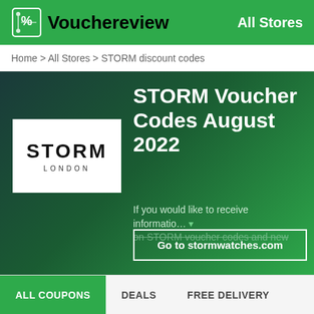Vouchereview | All Stores
Home > All Stores > STORM discount codes
STORM Voucher Codes August 2022
[Figure (logo): STORM London brand logo on white background]
If you would like to receive informatio… on STORM voucher codes and new...
Go to stormwatches.com
ALL COUPONS   DEALS   FREE DELIVERY